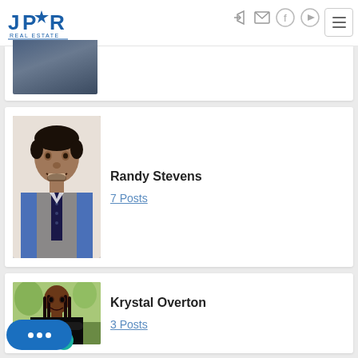JPR Real Estate header with navigation icons and hamburger menu
[Figure (photo): Partial photo of person in blue suit, bottom portion visible]
[Figure (photo): Photo of Randy Stevens, a man wearing a blue shirt and grey vest with tie, smiling]
Randy Stevens
7 Posts
[Figure (photo): Photo of Krystal Overton, a woman with braids wearing a black blazer, standing outdoors with arms crossed, smiling]
Krystal Overton
3 Posts